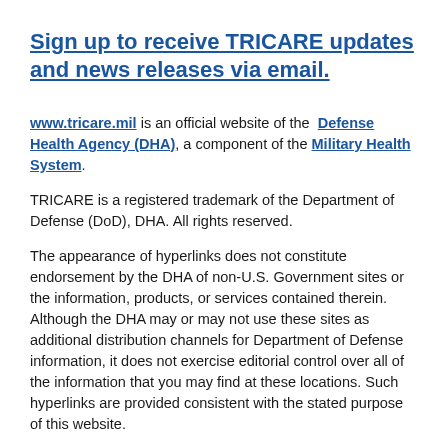Sign up to receive TRICARE updates and news releases via email.
www.tricare.mil is an official website of the Defense Health Agency (DHA), a component of the Military Health System.
TRICARE is a registered trademark of the Department of Defense (DoD), DHA. All rights reserved.
The appearance of hyperlinks does not constitute endorsement by the DHA of non-U.S. Government sites or the information, products, or services contained therein. Although the DHA may or may not use these sites as additional distribution channels for Department of Defense information, it does not exercise editorial control over all of the information that you may find at these locations. Such hyperlinks are provided consistent with the stated purpose of this website.
Some documents are presented in Portable Document Format